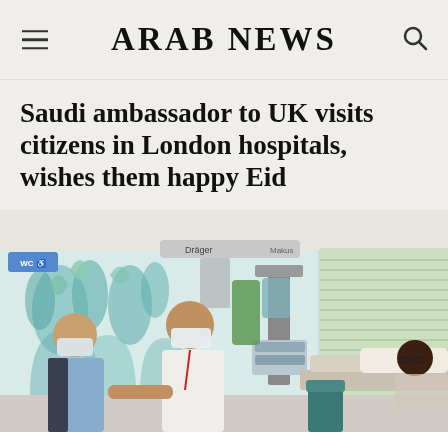ARAB NEWS
Saudi ambassador to UK visits citizens in London hospitals, wishes them happy Eid
[Figure (photo): Two men wearing face masks, one in a light blue shirt and one in a white shirt, visiting a patient lying in a hospital bed in a modern hospital room with patterned walls and medical equipment visible.]